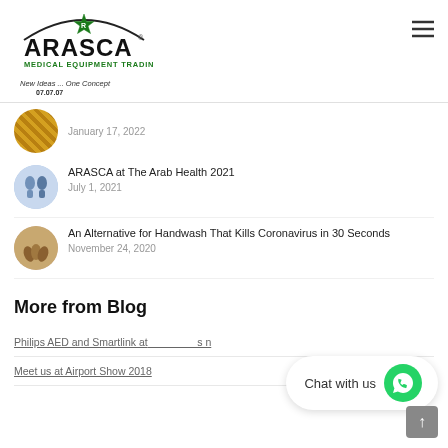[Figure (logo): ARASCA Medical Equipment Trading LLC logo with green medical star symbol, tagline 'New Ideas ... One Concept' and date '07.07.07']
January 17, 2022
ARASCA at The Arab Health 2021
July 1, 2021
An Alternative for Handwash That Kills Coronavirus in 30 Seconds
November 24, 2020
More from Blog
Philips AED and Smartlink at ...
Meet us at Airport Show 2018
[Figure (other): Chat with us WhatsApp button overlay]